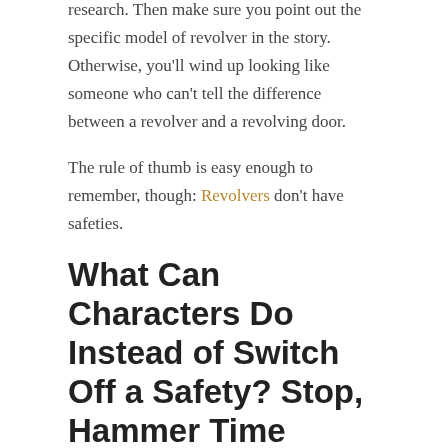research. Then make sure you point out the specific model of revolver in the story. Otherwise, you'll wind up looking like someone who can't tell the difference between a revolver and a revolving door.
The rule of thumb is easy enough to remember, though: Revolvers don't have safeties.
What Can Characters Do Instead of Switch Off a Safety? Stop, Hammer Time
If the thought of a revolver without a safety gives you a sense of uneasiness, I can tell you the feeling is unwarranted. A safety is a mechanical component of a